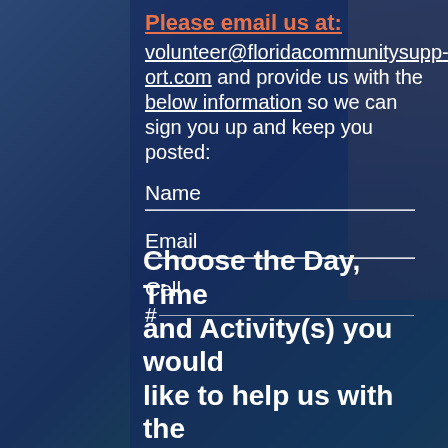[Figure (photo): Aerial view of Florida coastal city with buildings and beach, used as background]
Please email us at:
volunteer@floridacommunitysupp ort.com and provide us with the below information so we can sign you up and keep you posted:
Name
Email
Cell #
Choose the Day, Time and Activity(s) you would like to help us with the